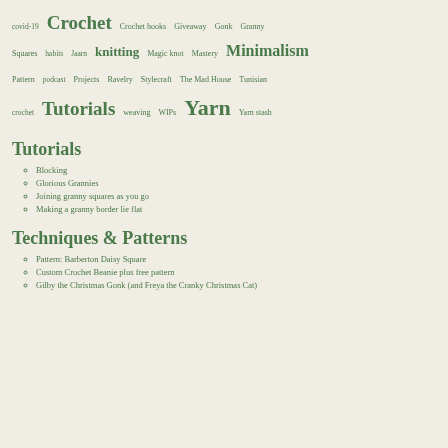covid-19  Crochet  Crochet hooks  Giveaway  Gonk  Granny Squares  habits  Jaarn  knitting  Magic knot  Mastery  Minimalism  Pattern  podcast  Projects  Ravelry  Stylecraft  The Mad House  Tunisian crochet  Tutorials  weaving  WIPs  Yarn  Yarn stash
Tutorials
Blocking
Glorious Grannies
Joining granny squares as you go
Making a granny border lie flat
Techniques & Patterns
Pattern: Barberton Daisy Square
Custom Crochet Beanie plus free pattern
Gilby the Christmas Gonk (and Freya the Cranky Christmas Cat)